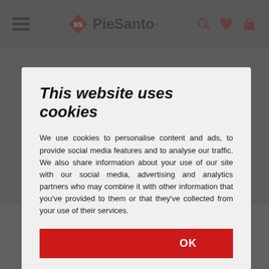PieSanto
This website uses cookies
We use cookies to personalise content and ads, to provide social media features and to analyse our traffic. We also share information about your use of our site with our social media, advertising and analytics partners who may combine it with other information that you've provided to them or that they've collected from your use of their services.
OK
Necessary  Preferences  Statistics  Marketing  Show details
Removable Insole Sandal Pearly Silver
130,00 €